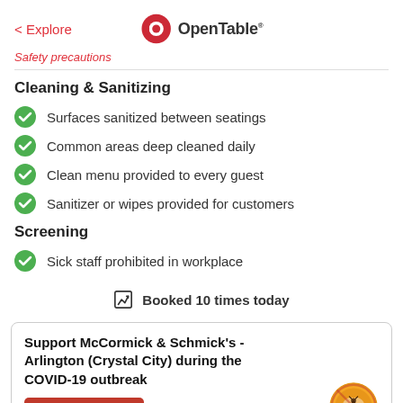< Explore  OpenTable
Safety precautions (partial)
Cleaning & Sanitizing
Surfaces sanitized between seatings
Common areas deep cleaned daily
Clean menu provided to every guest
Sanitizer or wipes provided for customers
Screening
Sick staff prohibited in workplace
Booked 10 times today
Support McCormick & Schmick's - Arlington (Crystal City) during the COVID-19 outbreak
Buy a gift card